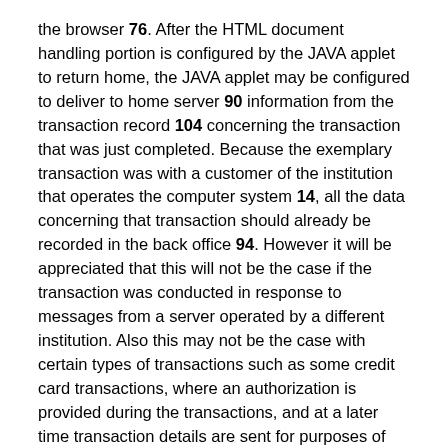the browser 76. After the HTML document handling portion is configured by the JAVA applet to return home, the JAVA applet may be configured to deliver to home server 90 information from the transaction record 104 concerning the transaction that was just completed. Because the exemplary transaction was with a customer of the institution that operates the computer system 14, all the data concerning that transaction should already be recorded in the back office 94. However it will be appreciated that this will not be the case if the transaction was conducted in response to messages from a server operated by a different institution. Also this may not be the case with certain types of transactions such as some credit card transactions, where an authorization is provided during the transactions, and at a later time transaction details are sent for purposes of settlement. Thus, all or a portion of the information from the transaction record 104 may be delivered in response to a "go home" ...